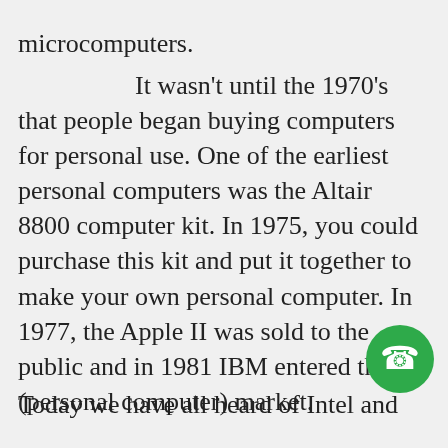microcomputers.
It wasn't until the 1970's that people began buying computers for personal use. One of the earliest personal computers was the Altair 8800 computer kit. In 1975, you could purchase this kit and put it together to make your own personal computer. In 1977, the Apple II was sold to the public and in 1981 IBM entered the PC (personal computer) market.
[Figure (other): Green circular phone/call button icon]
Today we have all heard of Intel and